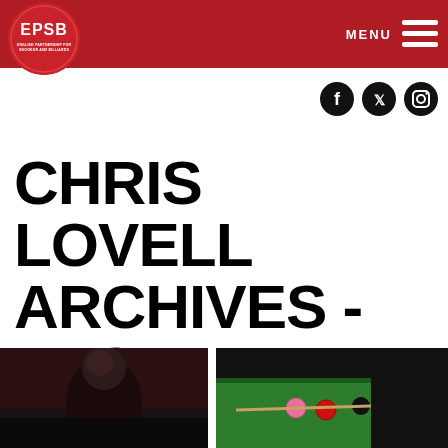EPSB - English Partnership for Snooker and Billiards
[Figure (logo): EPSB logo - red circle with white EPSB text and small subtitle text]
[Figure (other): Hamburger menu icon with MENU text]
[Figure (other): Social media icons: Facebook, Twitter, Instagram]
CHRIS LOVELL ARCHIVES - EPSB
[Figure (photo): Photo of a bald man in dark lighting]
[Figure (photo): Photo of snooker balls on a green table with a player in dark clothing]